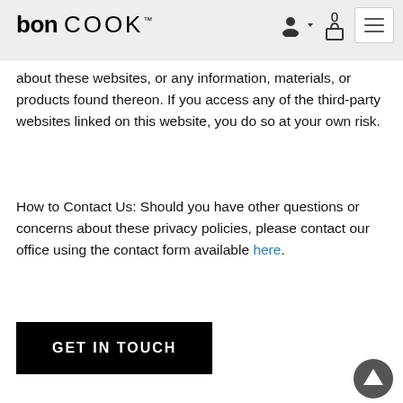bon COOK™
about these websites, or any information, materials, or products found thereon. If you access any of the third-party websites linked on this website, you do so at your own risk.
How to Contact Us: Should you have other questions or concerns about these privacy policies, please contact our office using the contact form available here.
GET IN TOUCH